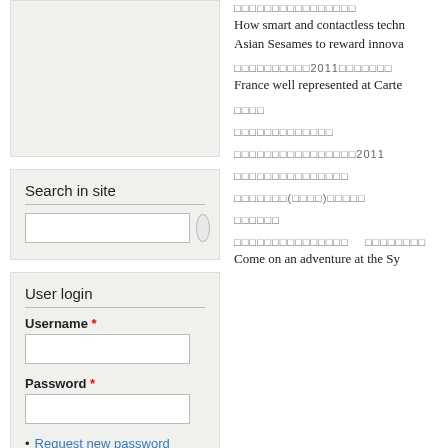[Figure (other): Empty sidebar box with light grey background]
Search in site
[Figure (other): Search input box with circular search button]
User login
Username *
[Figure (other): Username text input field]
Password *
[Figure (other): Password text input field]
Request new password
□□□□□□□□□□□□□□□□
How smart and contactless techn
Asian Sesames to reward innova
□□□□□□□□□□2011□□□□□□□
France well represented at Carte
□□□□
□□□□□□□□□□□□□
□□□□□□□□□□□□□□□□2011
□□□□□□□□□□□□□□□
□□□□□□□(□□□□)□□□□□
□□□□□□
□□□□□□□□□□□□□□□   □□□□□□□□
Come on an adventure at the Sy